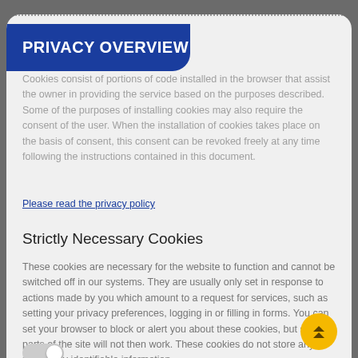PRIVACY OVERVIEW
Cookies consist of portions of code installed in the browser that assist the owner in providing the service based on the purposes described. Some of the purposes of installing cookies may also require the consent of the user. When the installation of cookies takes place on the basis of consent, this consent can be revoked freely at any time following the instructions contained in this document.
Please read the privacy policy
Strictly Necessary Cookies
These cookies are necessary for the website to function and cannot be switched off in our systems. They are usually only set in response to actions made by you which amount to a request for services, such as setting your privacy preferences, logging in or filling in forms. You can set your browser to block or alert you about these cookies, but some parts of the site will not then work. These cookies do not store any personally identifiable information.
3rd Parties Cookies